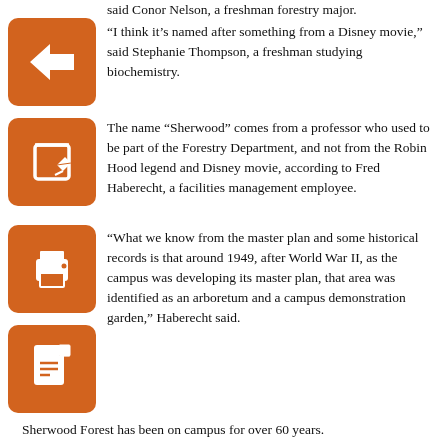said Conor Nelson, a freshman forestry major.
“I think it’s named after something from a Disney movie,” said Stephanie Thompson, a freshman studying biochemistry.
The name “Sherwood” comes from a professor who used to be part of the Forestry Department, and not from the Robin Hood legend and Disney movie, according to Fred Haberecht, a facilities management employee.
“What we know from the master plan and some historical records is that around 1949, after World War II, as the campus was developing its master plan, that area was identified as an arboretum and a campus demonstration garden,” Haberecht said.
Sherwood Forest has been on campus for over 60 years.
“The only way (Sherwood Forest) is growing today is memorial trees,” Haberecht said. “Folks, especially in the Warner College and Forestry, have requested to plant trees for people who have been involved in that college.”
As Sherwood Forest grows with the addition of new memorial trees, there have been losses — with both trees and students.